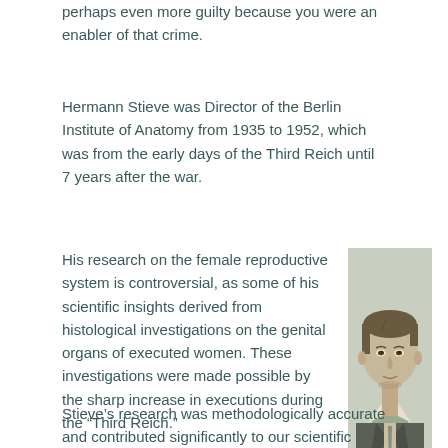perhaps even more guilty because you were an enabler of that crime.
Hermann Stieve was Director of the Berlin Institute of Anatomy from 1935 to 1952, which was from the early days of the Third Reich until 7 years after the war.
His research on the female reproductive system is controversial, as some of his scientific insights derived from histological investigations on the genital organs of executed women. These investigations were made possible by the sharp increase in executions during the “Third Reich.”
[Figure (photo): Black and white portrait photograph of Hermann Stieve, a man in a suit and tie, formal pose, appears to be from early 20th century.]
Stieve’s research was methodologically accurate and contributed significantly to our scientific